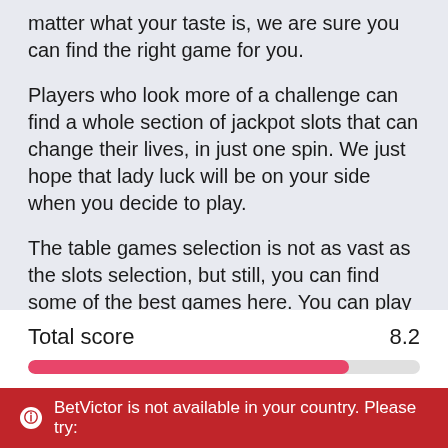matter what your taste is, we are sure you can find the right game for you.
Players who look more of a challenge can find a whole section of jackpot slots that can change their lives, in just one spin. We just hope that lady luck will be on your side when you decide to play.
The table games selection is not as vast as the slots selection, but still, you can find some of the best games here. You can play blackjack, baccarat, and poker, and some of their many variants.
| Total score | 8.2 |
| --- | --- |
BetVictor is not available in your country. Please try: